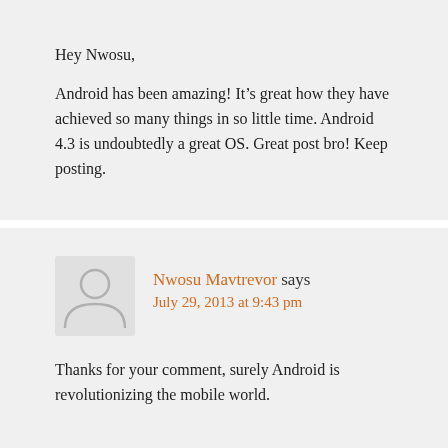Hey Nwosu,

Android has been amazing! It’s great how they have achieved so many things in so little time. Android 4.3 is undoubtedly a great OS. Great post bro! Keep posting.
Nwosu Mavtrevor says
July 29, 2013 at 9:43 pm
Thanks for your comment, surely Android is revolutionizing the mobile world.